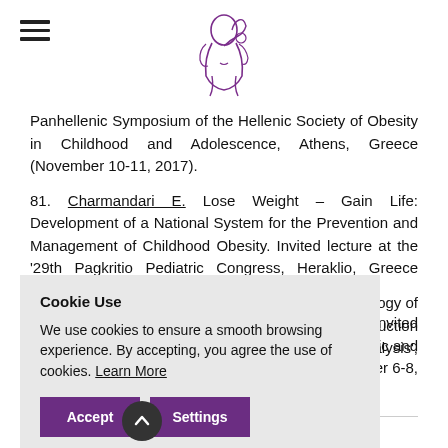[Figure (logo): Hellenic Society of Obesity logo - purple line drawing of mother and child figure]
Panhellenic Symposium of the Hellenic Society of Obesity in Childhood and Adolescence, Athens, Greece (November 10-11, 2017).
81. Charmandari E. Lose Weight – Gain Life: Development of a National System for the Prevention and Management of Childhood Obesity. Invited lecture at the '29th Pagkritio Pediatric Congress, Heraklio, Greece (October 21-22, 2017).
...truation. Invited ...of Pediatric and ...e (October 6-8,
...Methodology of ...the 'Introduction ...tistical Analysis', Athens, Greece (June 10-11, 2017).